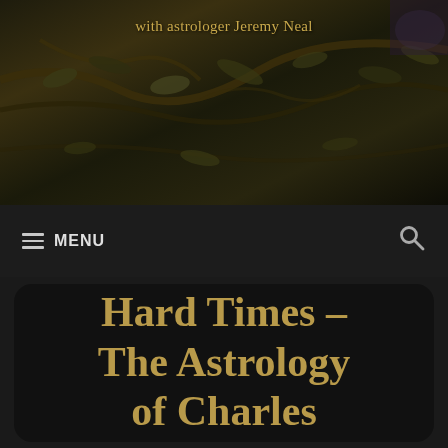[Figure (photo): Dark nature background image with branches, leaves, and muted earth tones — header image for an astrology blog]
with astrologer Jeremy Neal
≡ MENU  🔍
Hard Times – The Astrology of Charles